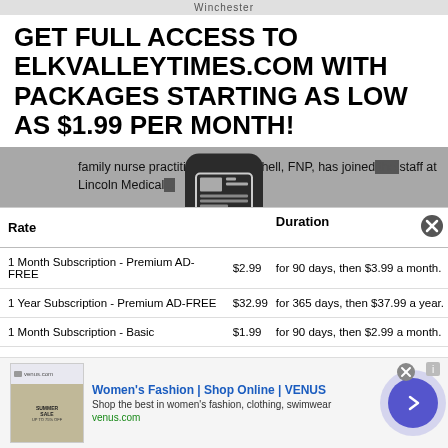Winchester
GET FULL ACCESS TO ELKVALLEYTIMES.COM WITH PACKAGES STARTING AS LOW AS $1.99 PER MONTH!
family nurse practitioner Lori Mitchell, FNP, has joined the staff at Lincoln Medical...
| Rate |  | Duration |
| --- | --- | --- |
| 1 Month Subscription - Premium AD-FREE | $2.99 | for 90 days, then $3.99 a month. |
| 1 Year Subscription - Premium AD-FREE | $32.99 | for 365 days, then $37.99 a year. |
| 1 Month Subscription - Basic | $1.99 | for 90 days, then $2.99 a month. |
| 1 Year Subscription - Basic | $24.99 | for 365 days, then $29.99 a year. |
[Figure (other): Women's Fashion Shop Online VENUS advertisement banner with summer sale image]
Women's Fashion | Shop Online | VENUS
Shop the best in women's fashion, clothing, swimwear
venus.com